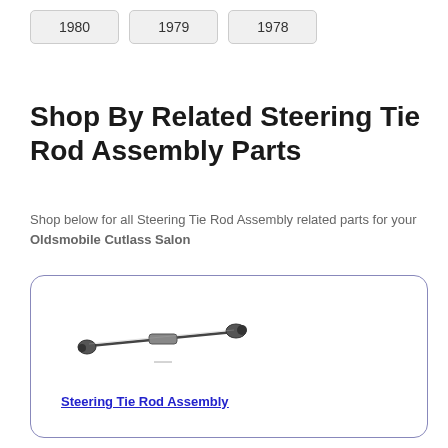1980
1979
1978
Shop By Related Steering Tie Rod Assembly Parts
Shop below for all Steering Tie Rod Assembly related parts for your Oldsmobile Cutlass Salon
[Figure (photo): Photo of a steering tie rod assembly part — a long thin metal rod with ball joints at each end]
Steering Tie Rod Assembly